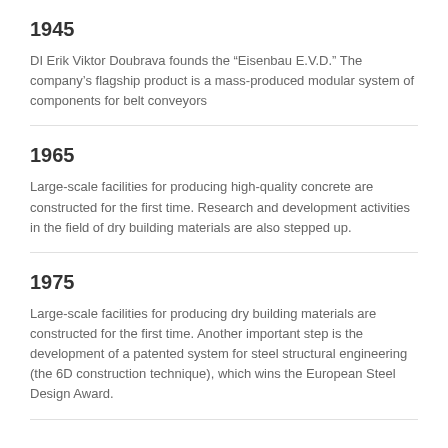1945
DI Erik Viktor Doubrava founds the “Eisenbau E.V.D.” The company’s flagship product is a mass-produced modular system of components for belt conveyors
1965
Large-scale facilities for producing high-quality concrete are constructed for the first time. Research and development activities in the field of dry building materials are also stepped up.
1975
Large-scale facilities for producing dry building materials are constructed for the first time. Another important step is the development of a patented system for steel structural engineering (the 6D construction technique), which wins the European Steel Design Award.